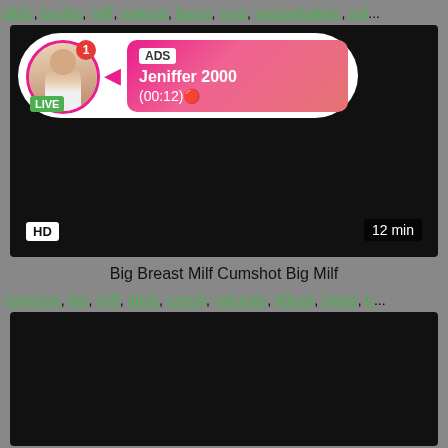dildo, boobs, milf, mature, busty, toys, masturbation, sol...
[Figure (screenshot): Video thumbnail with live cam popup overlay showing user 'Jeniffer 2000', ADS label, (00:12) timer, LIVE badge, HD badge, 12 min duration label on dark video background]
Big Breast Milf Cumshot Big Milf
cumshot, big, milf, titjob, czech, naturals, titfuck, juggs, b...
[Figure (screenshot): Second video thumbnail, dark/black background]